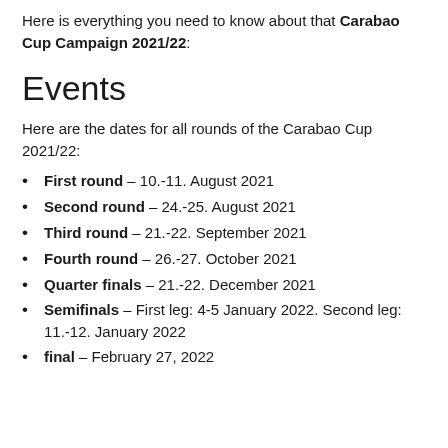Here is everything you need to know about that Carabao Cup Campaign 2021/22:
Events
Here are the dates for all rounds of the Carabao Cup 2021/22:
First round – 10.-11. August 2021
Second round – 24.-25. August 2021
Third round – 21.-22. September 2021
Fourth round – 26.-27. October 2021
Quarter finals – 21.-22. December 2021
Semifinals – First leg: 4-5 January 2022. Second leg: 11.-12. January 2022
final – February 27, 2022